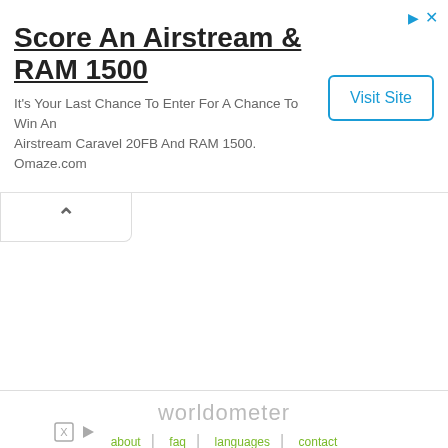[Figure (screenshot): Advertisement banner: Score An Airstream & RAM 1500 with Visit Site button]
Score An Airstream & RAM 1500
It's Your Last Chance To Enter For A Chance To Win An Airstream Caravel 20FB And RAM 1500. Omaze.com
[Figure (screenshot): Collapse/chevron up button tab]
[Figure (logo): worldometer logo in gray text]
about | faq | languages | contact
This website uses cookies to ensure you get the best experience on our website.  Learn more
[Figure (screenshot): Pexraytech X-ray Detectors for NDT advertisement with Open button]